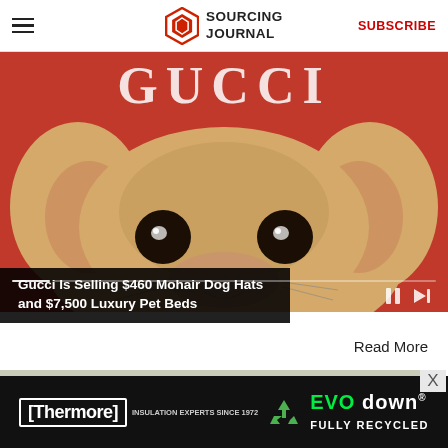Sourcing Journal — SUBSCRIBE
[Figure (photo): Close-up of a Chihuahua dog face looking up against a red Gucci-branded background, with video playback controls visible]
Gucci Is Selling $460 Mohair Dog Hats and $7,500 Luxury Pet Beds
Read More
[Figure (photo): Landscape photo of green fields and hills under an overcast sky]
[Figure (other): Thermore Insulation Experts Since 1972 — EVO down FULLY RECYCLED advertisement banner]